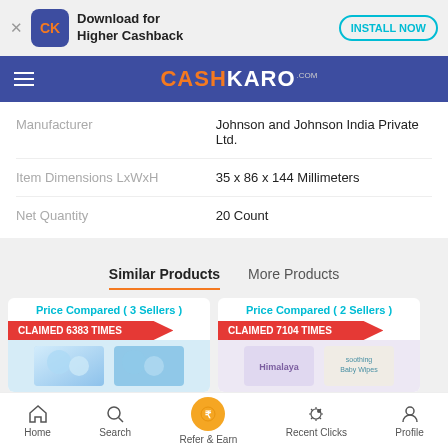[Figure (screenshot): CashKaro app download banner with CK logo, 'Download for Higher Cashback' text, and INSTALL NOW button]
[Figure (logo): CashKaro.com navigation bar logo with hamburger menu]
| Manufacturer | Johnson and Johnson India Private Ltd. |
| Item Dimensions LxWxH | 35 x 86 x 144 Millimeters |
| Net Quantity | 20 Count |
Similar Products
More Products
Price Compared ( 3 Sellers )
CLAIMED 6383 TIMES
Price Compared ( 2 Sellers )
CLAIMED 7104 TIMES
Home  Search  Refer & Earn  Recent Clicks  Profile